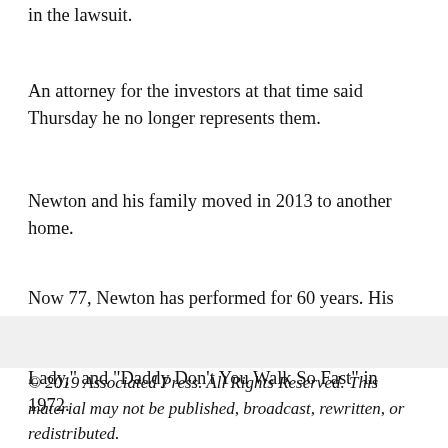in the lawsuit.
An attorney for the investors at that time said Thursday he no longer represents them.
Newton and his family moved in 2013 to another home.
Now 77, Newton has performed for 60 years. His best-known songs include his signature "Danke Schoen," his 1965 version of "Red Roses for a Blue Lady," and "Daddy Don't You Walk So Fast" in 1972.
© 2019 Associated Press. All Rights Reserved. This material may not be published, broadcast, rewritten, or redistributed.